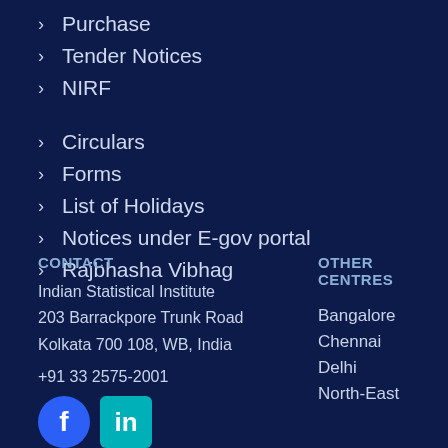Purchase
Tender Notices
NIRF
Circulars
Forms
List of Holidays
Notices under E-gov portal
Rajbhasha Vibhag
CONTACT
Indian Statistical Institute
203 Barrackpore Trunk Road
Kolkata 700 108, WB, India
+91 33 2575-2001
OTHER CENTRES
Bangalore
Chennai
Delhi
North-East